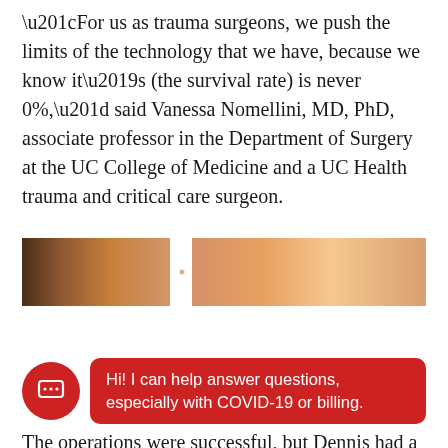“For us as trauma surgeons, we push the limits of the technology that we have, because we know it’s (the survival rate) is never 0%,” said Vanessa Nomellini, MD, PhD, associate professor in the Department of Surgery at the UC College of Medicine and a UC Health trauma and critical care surgeon.
[Figure (photo): Partial photo strip showing a hospital corridor or room interior with warm orange/tan tones, split into two sections with a white gap in between.]
Hi! I can help answer questions, especially with COVID-19 or billing.
The operations were successful, but Dennis had a long